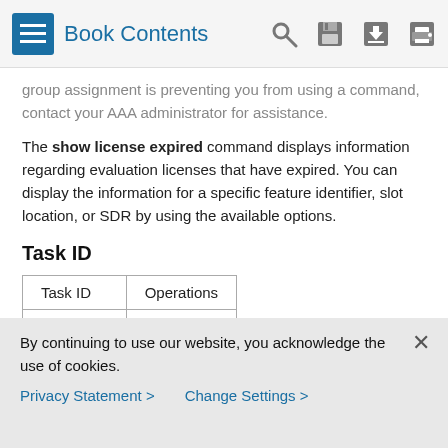Book Contents
group assignment is preventing you from using a command, contact your AAA administrator for assistance.
The show license expired command displays information regarding evaluation licenses that have expired. You can display the information for a specific feature identifier, slot location, or SDR by using the available options.
Task ID
| Task ID | Operations |
| --- | --- |
| pkg-mgmt | read |
Examples
The following example displays sample output from the show
By continuing to use our website, you acknowledge the use of cookies.
Privacy Statement > Change Settings >